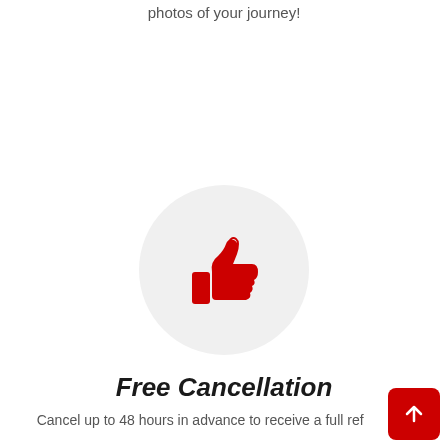photos of your journey!
[Figure (illustration): Red thumbs-up icon inside a light gray circle]
Free Cancellation
Cancel up to 48 hours in advance to receive a full ref...